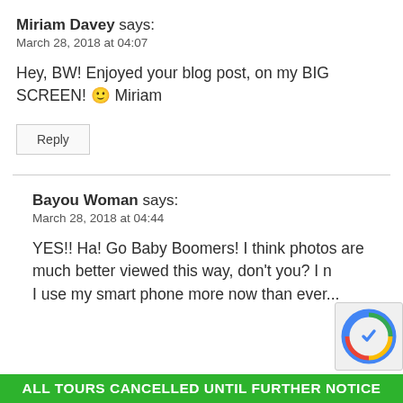Miriam Davey says:
March 28, 2018 at 04:07
Hey, BW! Enjoyed your blog post, on my BIG SCREEN! 🙂 Miriam
Reply
Bayou Woman says:
March 28, 2018 at 04:44
YES!! Ha! Go Baby Boomers! I think photos are much better viewed this way, don't you? I n... I use my smart phone more now than ever...
ALL TOURS CANCELLED UNTIL FURTHER NOTICE